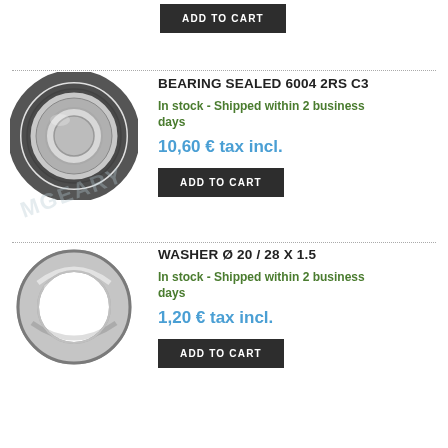ADD TO CART
[Figure (photo): Sealed ball bearing 6004 2RS C3, circular metal bearing with rubber seals, viewed from front]
BEARING SEALED 6004 2RS C3
In stock - Shipped within 2 business days
10,60 € tax incl.
ADD TO CART
[Figure (photo): Washer Ø 20/28 x 1.5, flat metal ring/washer viewed from front]
WASHER Ø 20 / 28 X 1.5
In stock - Shipped within 2 business days
1,20 € tax incl.
ADD TO CART